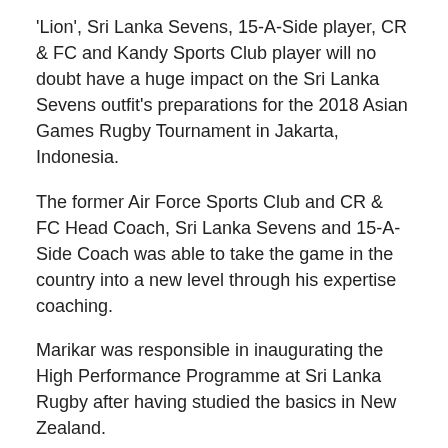'Lion', Sri Lanka Sevens, 15-A-Side player, CR & FC and Kandy Sports Club player will no doubt have a huge impact on the Sri Lanka Sevens outfit's preparations for the 2018 Asian Games Rugby Tournament in Jakarta, Indonesia.
The former Air Force Sports Club and CR & FC Head Coach, Sri Lanka Sevens and 15-A-Side Coach was able to take the game in the country into a new level through his expertise coaching.
Marikar was responsible in inaugurating the High Performance Programme at Sri Lanka Rugby after having studied the basics in New Zealand.
He emphasised on age grade development and his team showed quick success by winning the Under-20 Asian Sevens Championship for the first time under the leadership of Kevin Dixon.